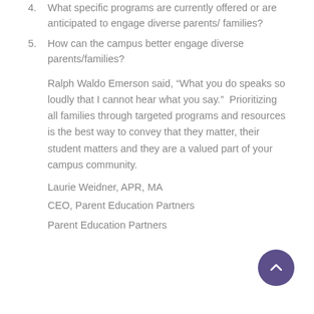4. What specific programs are currently offered or are anticipated to engage diverse parents/ families?
5. How can the campus better engage diverse parents/families?
Ralph Waldo Emerson said, “What you do speaks so loudly that I cannot hear what you say.”  Prioritizing all families through targeted programs and resources is the best way to convey that they matter, their student matters and they are a valued part of your campus community.
Laurie Weidner, APR, MA
CEO, Parent Education Partners
Parent Education Partners